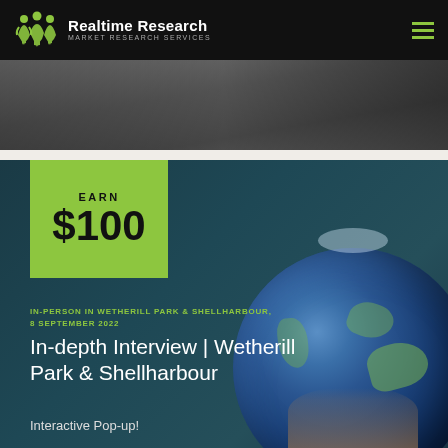[Figure (logo): Realtime Research logo with green figure icon and text 'Realtime Research / MARKET RESEARCH SERVICES' on black navbar]
[Figure (photo): Dark banner photo at top of page showing blurred background scene]
[Figure (infographic): Green earn box showing EARN $100, overlaid on dark teal card with globe image. Card contains location, title and subtitle text.]
IN-PERSON IN WETHERILL PARK & SHELLHARBOUR, 8 SEPTEMBER 2022
In-depth Interview | Wetherill Park & Shellharbour
Interactive Pop-up!